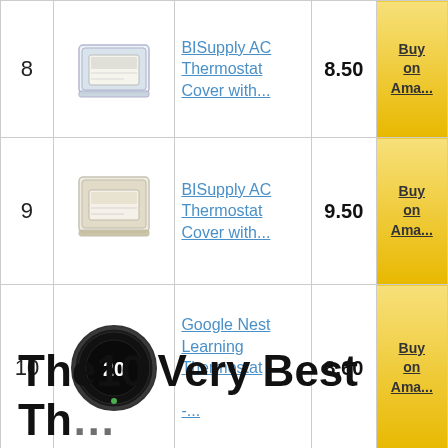| # | Image | Product | Score | Buy |
| --- | --- | --- | --- | --- |
| 8 | [image] | BISupply AC Thermostat Cover with... | 8.50 | Buy on Ama... |
| 9 | [image] | BISupply AC Thermostat Cover with... | 9.50 | Buy on Ama... |
| 10 | [image] | Google Nest Learning Thermostat -... | 8.60 | Buy on Ama... |
The10 Very Best Thermostats De...